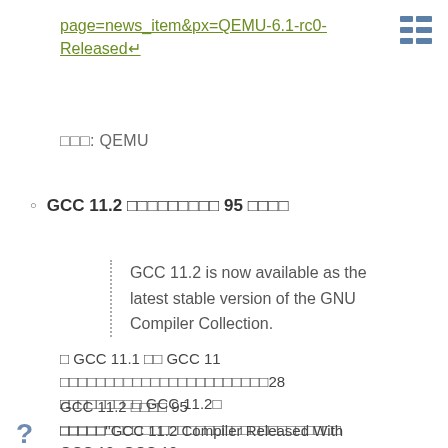page=news_item&px=QEMU-6.1-rc0-Released↵
[Figure (other): Grid/list toggle icon made of blue squares]
□□□: QEMU
GCC 11.2 □□□□□□□□□ 95 □□□□
GCC 11.2 is now available as the latest stable version of the GNU Compiler Collection.
□ GCC 11.1 □□ GCC 11 □□□□□□□□□□□□□□□□□□□□□□□□28 □□□□□□□□□ GCC 11.2□
GCC 11.2 □□□□ 95 □□□□□□□□□□□□□□□□□□□□□□□□□□□□□□□ GCC 12□GCC 12 □□□□□□□□□□□□□□□□□
□□□□□"GCC 11.2 Compiler Released With